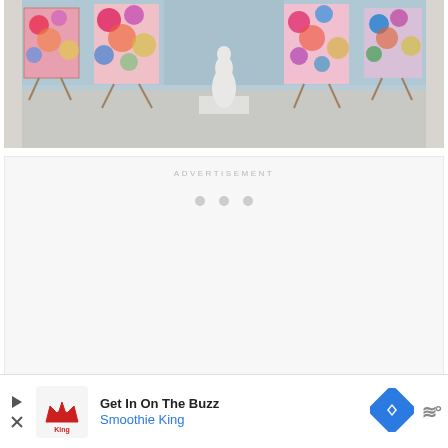[Figure (photo): Art gallery interior with colorful abstract paintings on easels and a white classical sculpture in the center, large windows in the background]
ADVERTISEMENT
[Figure (other): Advertisement loading placeholder with three grey dots]
[Figure (other): Advertisement banner: Get In On The Buzz - Smoothie King, with play button, Smoothie King logo, navigation diamond icon, and wavy menu icon]